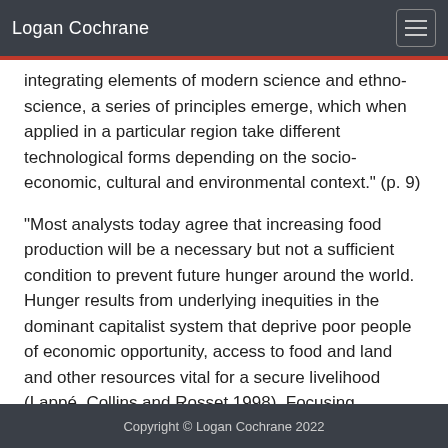Logan Cochrane
integrating elements of modern science and ethno-science, a series of principles emerge, which when applied in a particular region take different technological forms depending on the socio-economic, cultural and environmental context." (p. 9)
"Most analysts today agree that increasing food production will be a necessary but not a sufficient condition to prevent future hunger around the world. Hunger results from underlying inequities in the dominant capitalist system that deprive poor people of economic opportunity, access to food and land and other resources vital for a secure livelihood (Lappé, Collins and Rosset 1998). Focusing
Copyright © Logan Cochrane 2022